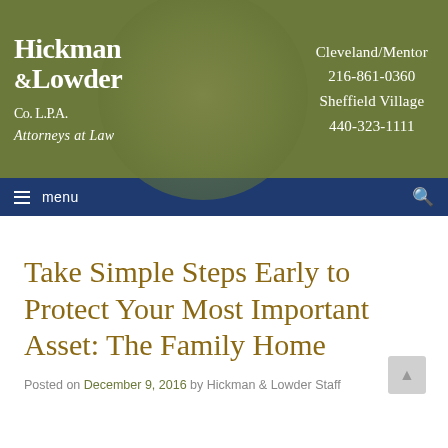[Figure (logo): Hickman & Lowder Co. L.P.A. Attorneys at Law law firm logo on olive green background with wood ring circle decoration. Contact info: Cleveland/Mentor 216-861-0360, Sheffield Village 440-323-1111]
menu
Take Simple Steps Early to Protect Your Most Important Asset: The Family Home
Posted on December 9, 2016 by Hickman & Lowder Staff